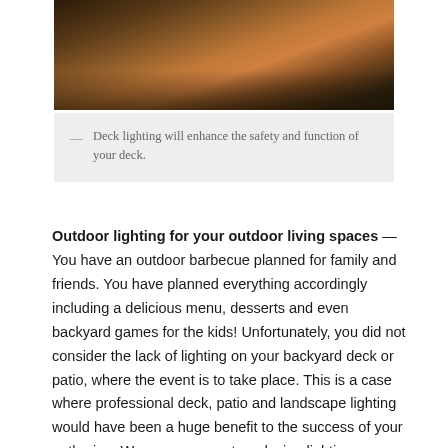[Figure (photo): Photo of a wooden deck with stone steps lit by warm lighting, with white railing visible in the background.]
— Deck lighting will enhance the safety and function of your deck.
Outdoor lighting for your outdoor living spaces — You have an outdoor barbecue planned for family and friends. You have planned everything accordingly including a delicious menu, desserts and even backyard games for the kids! Unfortunately, you did not consider the lack of lighting on your backyard deck or patio, where the event is to take place. This is a case where professional deck, patio and landscape lighting would have been a huge benefit to the success of your gathering. We can even custom design lighting specifically for your grilling area or outdoor kitchen to give you a food preparation area that is well-illuminated. With outdoor lighting nightfall would have allowed you to remain outdoors with your guests, enjoying